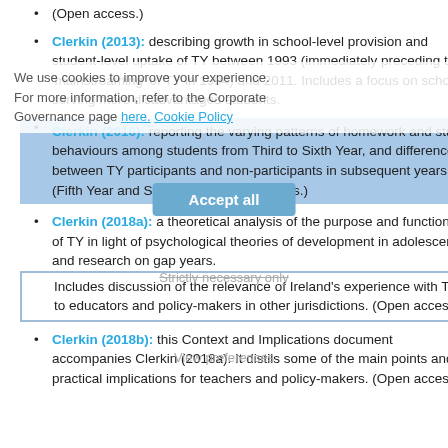(Open access.)
Clerkin (2013): describing growth in school-level provision and student-level uptake of TY between 1993 (immediately preceding the 'mainstreaming' of TY in 1994) and 2011. Includes a focus on schools serving more disadvantaged students.
Clerkin (2016): reporting the varying patterns of homework and study behaviours among students from Third to Sixth Year, and differences between TY participants and non-participants in subsequent years (Fifth Year and Sixth Year). (Open access.)
Clerkin (2018a): a theoretical analysis of the purpose and functions of TY in light of psychological theories of development in adolescence and research on gap years. Includes discussion of the relevance of Ireland's experience with TY to educators and policy-makers in other jurisdictions. (Open access.)
Clerkin (2018b): this Context and Implications document accompanies Clerkin (2018a). It distils some of the main points and practical implications for teachers and policy-makers. (Open access.)